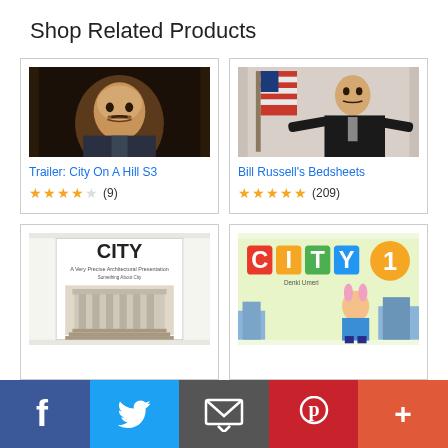Shop Related Products
[Figure (photo): Product card: movie still showing man looking upward in dark scene. Title: Trailer: City On A Hill S3. Rating: 4 stars (9 reviews).]
[Figure (photo): Product card: man in black suit with American flag, arms spread. Title: Bill Russell's Bedsheets. Rating: 5 stars (209 reviews).]
[Figure (photo): Product card: book cover 'CITY' with architectural drawing. Partially visible.]
[Figure (photo): Product card: colorful manga/anime style cover 'CITY 1'. Partially visible.]
f  Twitter  Email  Pinterest  +